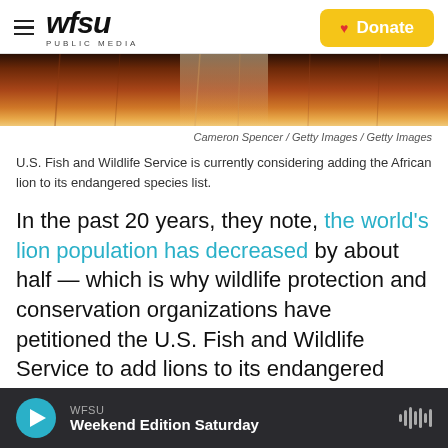WFSU PUBLIC MEDIA — Donate
[Figure (photo): Close-up photo of a lion's fur/mane, warm brown and golden tones, cropped to show only the fur texture.]
Cameron Spencer / Getty Images / Getty Images
U.S. Fish and Wildlife Service is currently considering adding the African lion to its endangered species list.
In the past 20 years, they note, the world's lion population has decreased by about half — which is why wildlife protection and conservation organizations have petitioned the U.S. Fish and Wildlife Service to add lions to its endangered species list.
WFSU Weekend Edition Saturday